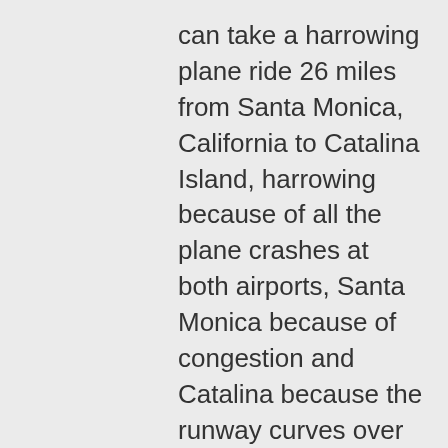can take a harrowing plane ride 26 miles from Santa Monica, California to Catalina Island, harrowing because of all the plane crashes at both airports, Santa Monica because of congestion and Catalina because the runway curves over the top of a mountain – you can't see the other end – and the air currents are